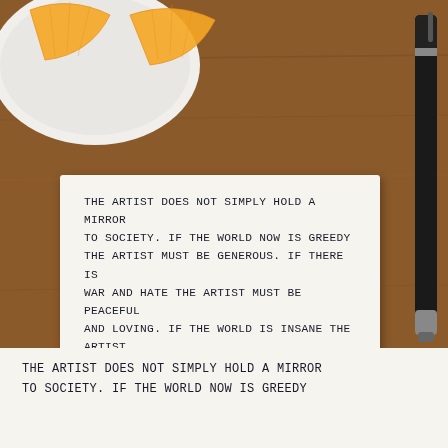[Figure (photo): Photograph of a handwritten note card on a wooden table. The card contains a quote paraphrasing Russell Chatham (1939-2019) about the role of the artist in society. A plate with orange/tangerine slices is visible at the top left, and a black pen is on the right side. Below, a bulletin board with the same note pinned with tacks is partially visible.]
The Artist does not simply hold a mirror to society. If the world now is greedy the artist must be generous. If there is war and hate the artist must be peaceful and loving. If the world is insane the artist must offer sanity and if the world is becoming a void the artist must fill it with their soul
-My paraphrase of Russell Chatham (1939-2019)
The Artist does not simply hold a mirror to society. If the world now is Greedy